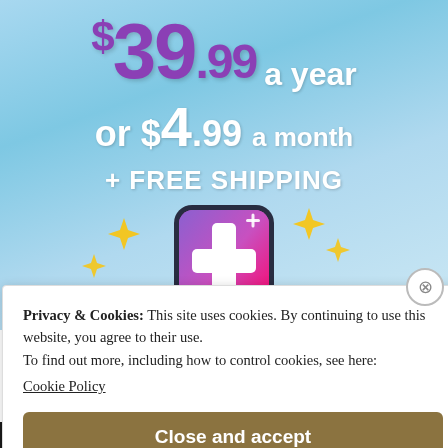[Figure (screenshot): Advertisement showing Tumblr+ subscription pricing: $39.99 a year or $4.99 a month plus free shipping, with a Tumblr plus logo icon with sparkles on a blue gradient background]
Privacy & Cookies: This site uses cookies. By continuing to use this website, you agree to their use.
To find out more, including how to control cookies, see here:
Cookie Policy
Close and accept